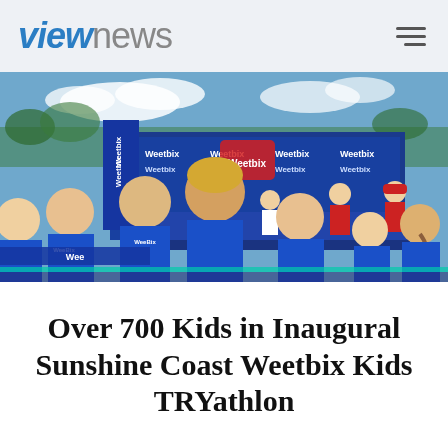viewnews
[Figure (photo): Outdoor sporting event scene with children wearing blue Weetbix-branded shirts gathered around a stage/podium area. Weetbix banners and a pull-up banner are visible in the background. Adults in red shirts are on the stage. Sky is partly cloudy.]
Over 700 Kids in Inaugural Sunshine Coast Weetbix Kids TRYathlon